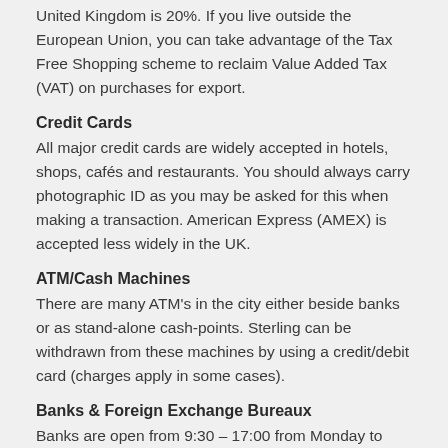United Kingdom is 20%. If you live outside the European Union, you can take advantage of the Tax Free Shopping scheme to reclaim Value Added Tax (VAT) on purchases for export.
Credit Cards
All major credit cards are widely accepted in hotels, shops, cafés and restaurants. You should always carry photographic ID as you may be asked for this when making a transaction. American Express (AMEX) is accepted less widely in the UK.
ATM/Cash Machines
There are many ATM's in the city either beside banks or as stand-alone cash-points. Sterling can be withdrawn from these machines by using a credit/debit card (charges apply in some cases).
Banks & Foreign Exchange Bureaux
Banks are open from 9:30 – 17:00 from Monday to Friday, and some larger branches also operate on a Saturday until